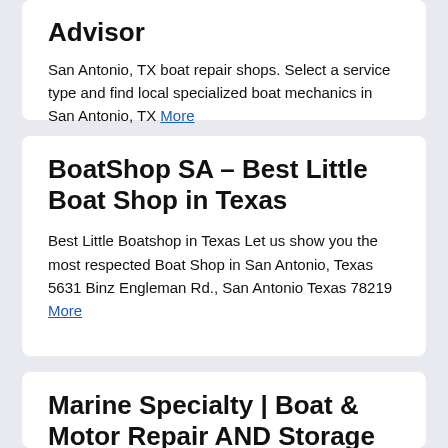Advisor
San Antonio, TX boat repair shops. Select a service type and find local specialized boat mechanics in San Antonio, TX More
BoatShop SA – Best Little Boat Shop in Texas
Best Little Boatshop in Texas Let us show you the most respected Boat Shop in San Antonio, Texas 5631 Binz Engleman Rd., San Antonio Texas 78219 More
Marine Specialty | Boat & Motor Repair AND Storage